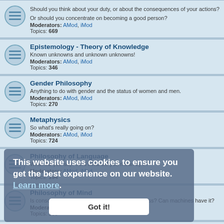Should you think about your duty, or about the consequences of your actions? Or should you concentrate on becoming a good person? Moderators: AMod, iMod Topics: 669
Epistemology - Theory of Knowledge. Known unknowns and unknown unknowns! Moderators: AMod, iMod Topics: 346
Gender Philosophy. Anything to do with gender and the status of women and men. Moderators: AMod, iMod Topics: 270
Metaphysics. So what's really going on? Moderators: AMod, iMod Topics: 724
Philosophy of Language. What did you say? And what did you mean by it? Moderators: AMod, iMod Topics: 194
Philosophy of Mind. Is consciousness physical? What is consciousness? Can machines have it? Moderators: AMod, iMod Topics: 585
Philosophy of Religion. Is there a God? If so, what is She like? Moderators: AMod, iMod Topics: 1547
This website uses cookies to ensure you get the best experience on our website. Learn more.
Got it!